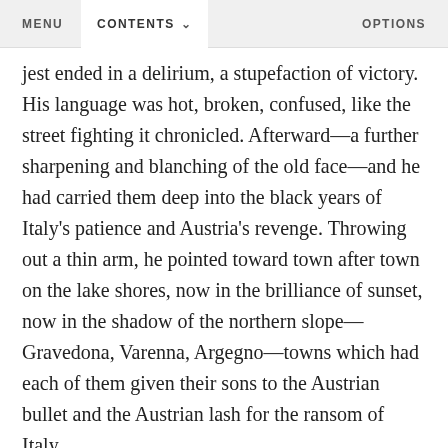MENU   CONTENTS   OPTIONS
jest ended in a delirium, a stupefaction of victory. His language was hot, broken, confused, like the street fighting it chronicled. Afterward—a further sharpening and blanching of the old face—and he had carried them deep into the black years of Italy's patience and Austria's revenge. Throwing out a thin arm, he pointed toward town after town on the lake shores, now in the brilliance of sunset, now in the shadow of the northern slope—Gravedona, Varenna, Argegno—towns which had each of them given their sons to the Austrian bullet and the Austrian lash for the ransom of Italy.
He ran through the sacred names—Stazzonelli, Riccini, Crescioni, Ronchetti, Corosa, Provitali,—young men